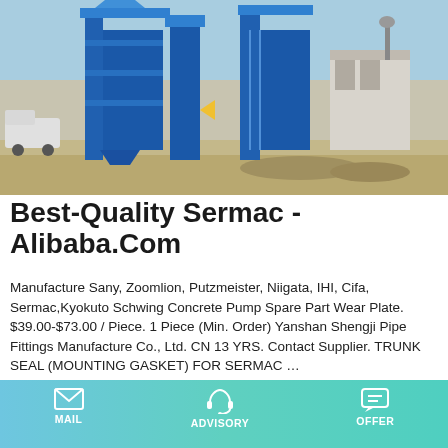[Figure (photo): Large blue industrial asphalt plant / concrete batching plant equipment photographed outdoors on a construction site.]
Best-Quality Sermac - Alibaba.Com
Manufacture Sany, Zoomlion, Putzmeister, Niigata, IHI, Cifa, Sermac,Kyokuto Schwing Concrete Pump Spare Part Wear Plate. $39.00-$73.00 / Piece. 1 Piece (Min. Order) Yanshan Shengji Pipe Fittings Manufacture Co., Ltd. CN 13 YRS. Contact Supplier. TRUNK SEAL (MOUNTING GASKET) FOR SERMAC …
Learn More
[Figure (photo): Partial view of yellow and dark industrial machinery or construction equipment.]
MAIL   ADVISORY   OFFER